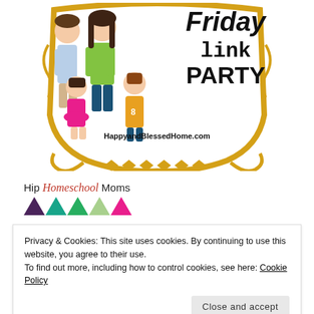[Figure (illustration): Friday Link Party banner with gold shield border containing cartoon family illustration (man, woman, girl, boy) and text 'Friday link PARTY' with 'HappyandBlessedHome.com' at bottom]
[Figure (logo): Hip Homeschool Moms logo with text and colorful triangle/chevron shapes in dark purple, teal, green, light green, pink/magenta colors]
Privacy & Cookies: This site uses cookies. By continuing to use this website, you agree to their use.
To find out more, including how to control cookies, see here: Cookie Policy
Close and accept
Hope in Every Season